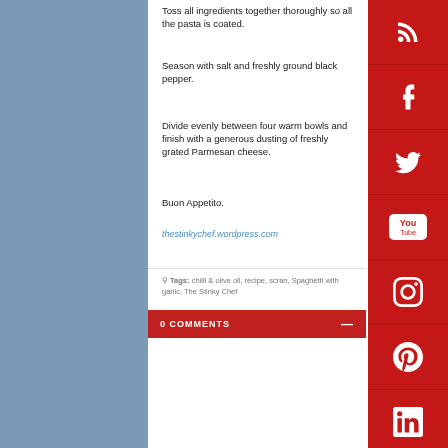Toss all ingredients together thoroughly so all the pasta is coated.
Season with salt and freshly ground black pepper.
Divide evenly between four warm bowls and finish with a generous dusting of freshly grated Parmesan cheese.
Buon Appetito.
thestinkychef.wordpress.com
Tags: chilli & olive oil, recipe, scran, Spaghetti with garlic, The Stinky Chef
0 COMMENTS